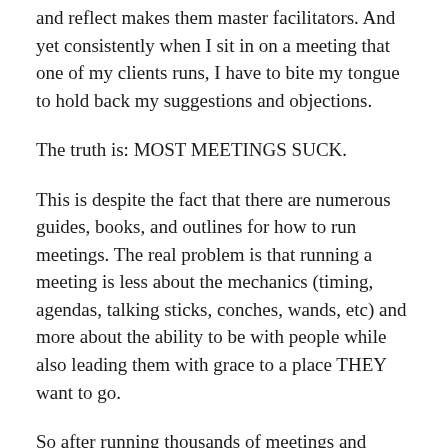and reflect makes them master facilitators. And yet consistently when I sit in on a meeting that one of my clients runs, I have to bite my tongue to hold back my suggestions and objections.
The truth is: MOST MEETINGS SUCK.
This is despite the fact that there are numerous guides, books, and outlines for how to run meetings. The real problem is that running a meeting is less about the mechanics (timing, agendas, talking sticks, conches, wands, etc) and more about the ability to be with people while also leading them with grace to a place THEY want to go.
So after running thousands of meetings and sitting through even more, here's the skills you actually need